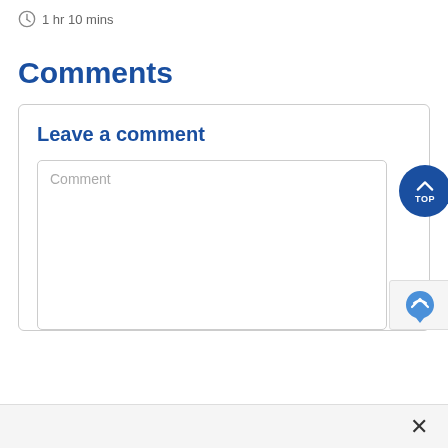1 hr 10 mins
Comments
Leave a comment
Comment
[Figure (other): Blue circular 'TOP' back-to-top button with upward chevron arrow]
[Figure (other): reCAPTCHA badge]
×